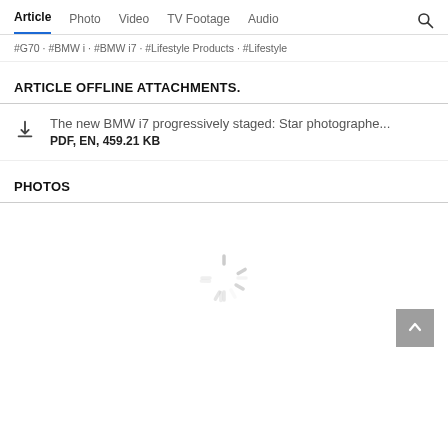Article  Photo  Video  TV Footage  Audio
#G70 · #BMW i · #BMW i7 · #Lifestyle Products · #Lifestyle
ARTICLE OFFLINE ATTACHMENTS.
The new BMW i7 progressively staged: Star photographe...
PDF, EN, 459.21 KB
PHOTOS
[Figure (other): Loading spinner animation indicator]